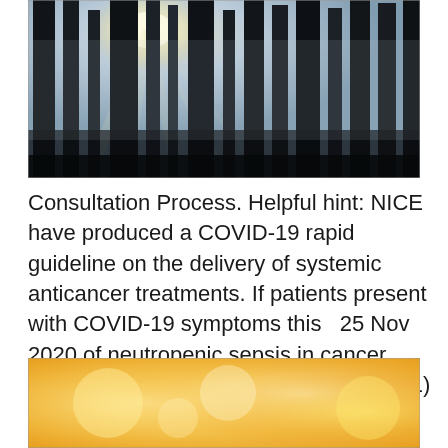[Figure (photo): Forest of tall dark tree trunks with sunlight streaming through misty trees, viewed from below looking up toward the sky.]
Consultation Process. Helpful hint: NICE have produced a COVID-19 rapid guideline on the delivery of systemic anticancer treatments. If patients present with COVID-19 symptoms this   25 Nov 2020 of neutropenic sepsis in cancer patients (NICE Clinical Guideline CG151) | Find, read and cite all the research you need on ResearchGate. of neutropenic sepsis in the emergency department.
[Figure (photo): Warm golden-orange blurred bokeh background image with soft yellow and orange tones.]